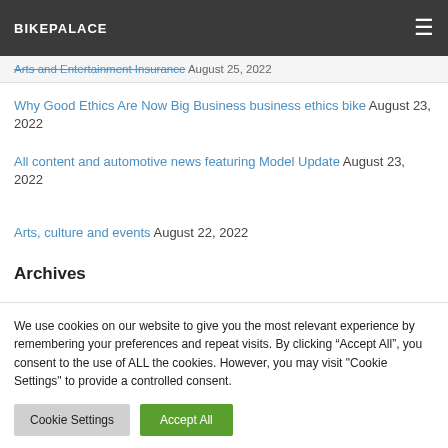BIKEPALACE
Arts and Entertainment Insurance August 25, 2022
Why Good Ethics Are Now Big Business business ethics bike August 23, 2022
All content and automotive news featuring Model Update August 23, 2022
Arts, culture and events August 22, 2022
Archives
August 2022
We use cookies on our website to give you the most relevant experience by remembering your preferences and repeat visits. By clicking “Accept All”, you consent to the use of ALL the cookies. However, you may visit "Cookie Settings" to provide a controlled consent.